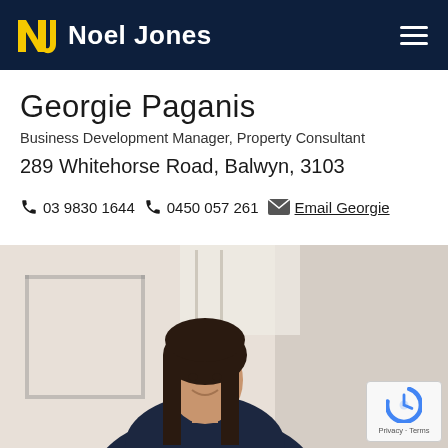Noel Jones
Georgie Paganis
Business Development Manager, Property Consultant
289 Whitehorse Road, Balwyn, 3103
03 9830 1644   0450 057 261   Email Georgie
[Figure (photo): Professional headshot of Georgie Paganis, a woman with long dark hair wearing a dark blazer, smiling, in a bright indoor setting.]